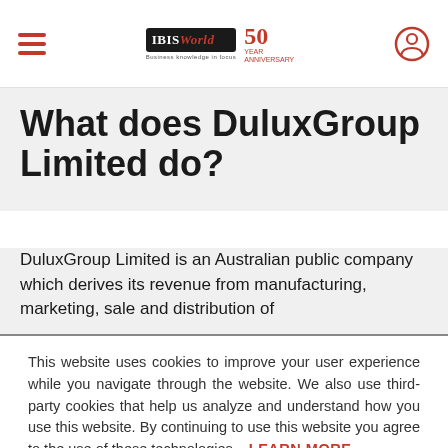IBIS World 50th Anniversary
What does DuluxGroup Limited do?
DuluxGroup Limited is an Australian public company which derives its revenue from manufacturing, marketing, sale and distribution of
This website uses cookies to improve your user experience while you navigate through the website. We also use third-party cookies that help us analyze and understand how you use this website. By continuing to use this website you agree to the use of these technologies.
LEARN MORE
ACCEPT